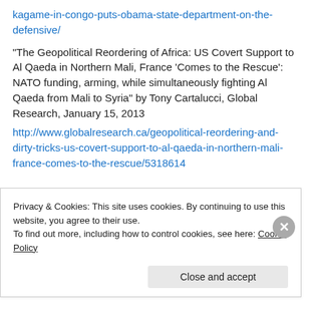kagame-in-congo-puts-obama-state-department-on-the-defensive/
“The Geopolitical Reordering of Africa: US Covert Support to Al Qaeda in Northern Mali, France ‘Comes to the Rescue’: NATO funding, arming, while simultaneously fighting Al Qaeda from Mali to Syria” by Tony Cartalucci, Global Research, January 15, 2013
http://www.globalresearch.ca/geopolitical-reordering-and-dirty-tricks-us-covert-support-to-al-qaeda-in-northern-mali-france-comes-to-the-rescue/5318614
Privacy & Cookies: This site uses cookies. By continuing to use this website, you agree to their use.
To find out more, including how to control cookies, see here: Cookie Policy